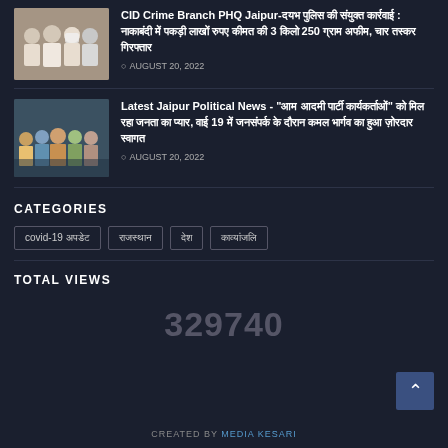[Figure (photo): Group of men in white shirts, one with face covered, possibly a police arrest scene]
CID Crime Branch PHQ Jaipur-दयभ पुलिस की संयुक्त कार्रवाई : नाकाबंदी में पकड़ी लाखों रुपए कीमत की 3 किलो 250 ग्राम अफीम, चार तस्कर गिरफ्तार
AUGUST 20, 2022
[Figure (photo): Group of people outdoors, political event or gathering]
Latest Jaipur Political News - "आम आदमी पार्टी कार्यकर्ताओं" को मिल रहा जनता का प्यार, वाई 19 में जनसंपर्क के दौरान कमल भार्गव का हुआ ज़ोरदार स्वागत
AUGUST 20, 2022
CATEGORIES
covid-19 अपडेट
राजस्थान
देश
काव्यांजलि
TOTAL VIEWS
329740
CREATED BY MEDIA KESARI